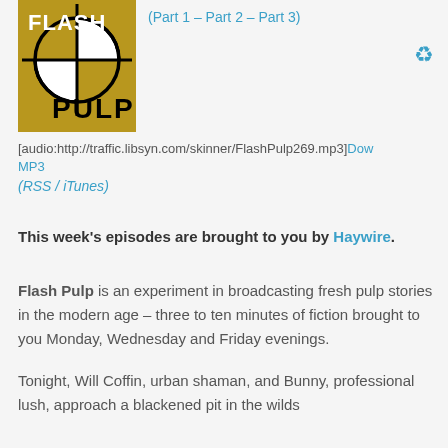[Figure (logo): Flash Pulp logo: gold/brown square with crosshair circle and text FLASH PULP in black]
(Part 1 – Part 2 – Part 3)
[audio:http://traffic.libsyn.com/skinner/FlashPulp269.mp3]Download MP3
(RSS / iTunes)
This week's episodes are brought to you by Haywire.
Flash Pulp is an experiment in broadcasting fresh pulp stories in the modern age – three to ten minutes of fiction brought to you Monday, Wednesday and Friday evenings.
Tonight, Will Coffin, urban shaman, and Bunny, professional lush, approach a blackened pit in the wilds